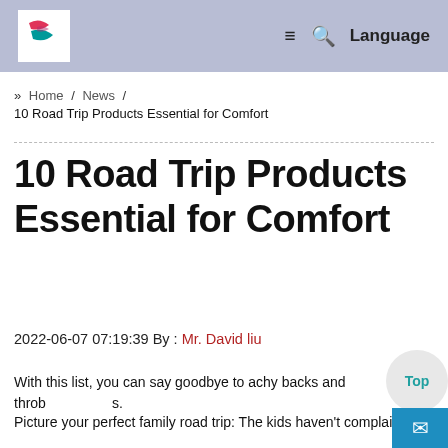Logo | ≡ 🔍 Language
» Home / News / 10 Road Trip Products Essential for Comfort
10 Road Trip Products Essential for Comfort
2022-06-07 07:19:39 By : Mr. David liu
With this list, you can say goodbye to achy backs and throb s.
Picture your perfect family road trip: The kids haven't complained